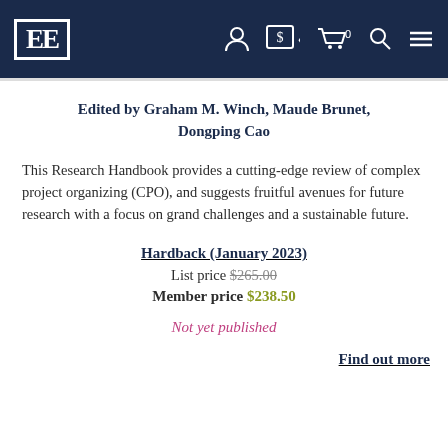EE [logo] navigation bar with account, currency, cart, search, and menu icons
Edited by Graham M. Winch, Maude Brunet, Dongping Cao
This Research Handbook provides a cutting-edge review of complex project organizing (CPO), and suggests fruitful avenues for future research with a focus on grand challenges and a sustainable future.
Hardback (January 2023)
List price $265.00
Member price $238.50
Not yet published
Find out more